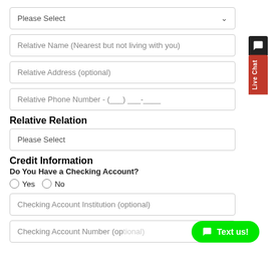Please Select (dropdown)
Relative Name (Nearest but not living with you)
Relative Address (optional)
Relative Phone Number - (___) ___-____
Relative Relation
Please Select (dropdown)
Credit Information
Do You Have a Checking Account?
Yes
No
Checking Account Institution (optional)
Checking Account Number (optional)
[Figure (screenshot): Live Chat tab widget on right side]
[Figure (other): Text us! green chat button]